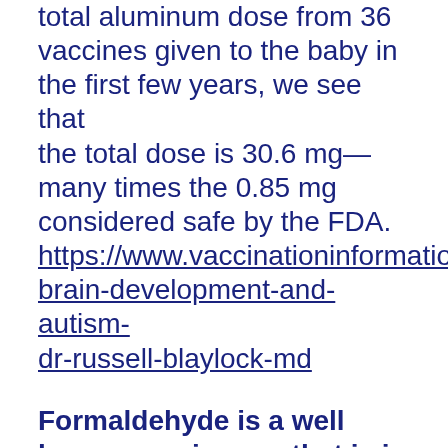total aluminum dose from 36 vaccines given to the baby in the first few years, we see that the total dose is 30.6 mg—many times the 0.85 mg considered safe by the FDA. https://www.vaccinationinformationnetwork.com/vaccines-brain-development-and-autism-dr-russell-blaylock-md
Formaldehyde is a well known carcinogen that is in a handful of vaccines. Gelatin can provoke an allergic response, including anaphylaxis. https://www.nvic.org/Doctors-Corner/Lawrence-Palevsky/Aluminum-and-